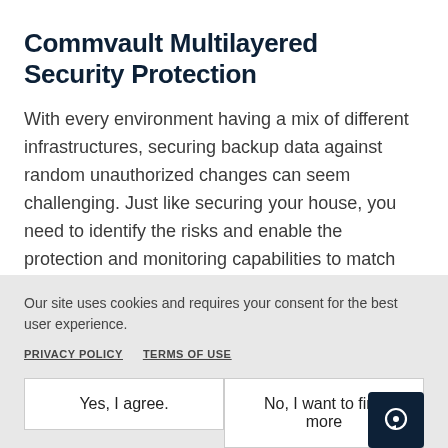Commvault Multilayered Security Protection
With every environment having a mix of different infrastructures, securing backup data against random unauthorized changes can seem challenging. Just like securing your house, you need to identify the risks and enable the protection and monitoring capabilities to match your needs.
Our site uses cookies and requires your consent for the best user experience.
PRIVACY POLICY
TERMS OF USE
Yes, I agree.
No, I want to find more